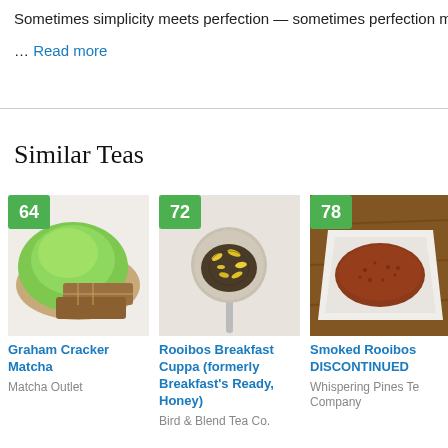Sometimes simplicity meets perfection — sometimes perfection meets yo
… Read more
Similar Teas
[Figure (photo): Score badge 64 over photo of green matcha powder and graham crackers on white background]
Graham Cracker Matcha
Matcha Outlet
[Figure (photo): Score badge 72 over photo of tea spoon with loose leaf tea and yellow petals on light background]
Rooibos Breakfast Cuppa (formerly Breakfast's Ready, Honey)
Bird & Blend Tea Co.
[Figure (photo): Score badge 78 over photo of reddish-brown rooibos tea in a white square bowl on wooden surface]
Smoked Rooibos DISCONTINUED
Whispering Pines Tea Company